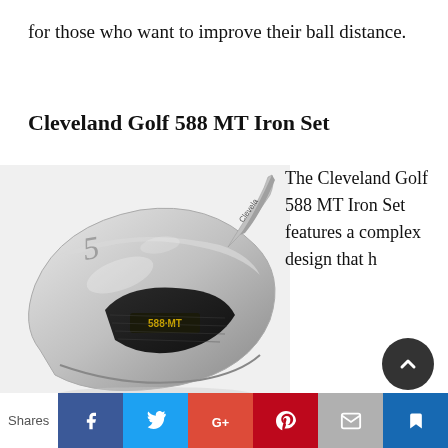for those who want to improve their ball distance.
Cleveland Golf 588 MT Iron Set
[Figure (photo): A Cleveland Golf 588 MT iron club head, silver/chrome finish, with '588 MT' text visible on the face, photographed at an angle showing the club face and hosel.]
The Cleveland Golf 588 MT Iron Set features a complex design that h
Shares | Facebook | Twitter | Google+ | Pinterest | Email | Bookmark